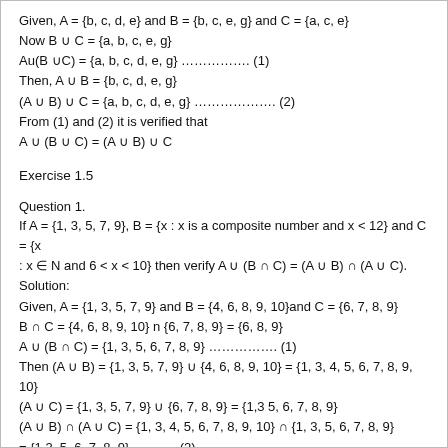Given, A = {b, c, d, e} and B = {b, c, e, g} and C = {a, c, e}
Now B ∪ C = {a, b, c, e, g}
Au(B ∪C) = {a, b, c, d, e, g} …………… (1)
Then, A ∪ B = {b, c, d, e, g}
(A ∪ B) ∪ C = {a, b, c, d, e, g} ………………. (2)
From (1) and (2) it is verified that
A ∪ (B ∪ C) = (A ∪ B) ∪ C
Exercise 1.5
Question 1.
If A = {1, 3, 5, 7, 9}, B = {x : x is a composite number and x < 12} and C = {x : x ∈ N and 6 < x < 10} then verify A ∪ (B ∩ C) = (A ∪ B) ∩ (A ∪ C).
Solution:
Given, A = {1, 3, 5, 7, 9} and B = {4, 6, 8, 9, 10}and C = {6, 7, 8, 9}
B ∩ C = {4, 6, 8, 9, 10} n {6, 7, 8, 9} = {6, 8, 9}
A ∪ (B ∩ C) = {1, 3, 5, 6, 7, 8, 9} ……………. (1)
Then (A ∪ B) = {1, 3, 5, 7, 9} ∪ {4, 6, 8, 9, 10} = {1, 3, 4, 5, 6, 7, 8, 9, 10}
(A ∪ C) = {1, 3, 5, 7, 9} ∪ {6, 7, 8, 9} = {1,3 5, 6, 7, 8, 9}
(A ∪ B) ∩ (A ∪ C) = {1, 3, 4, 5, 6, 7, 8, 9, 10} ∩ {1, 3, 5, 6, 7, 8, 9}
= {1, 3, 5, 6, 7, 8, 9}              (2)